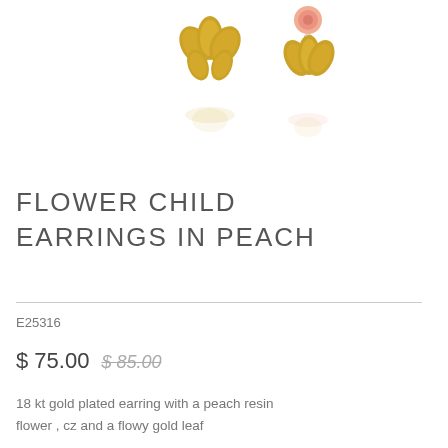[Figure (photo): Product photo of gold leaf earrings with peach resin flower and crystal detail, shown on white background with subtle reflection]
FLOWER CHILD EARRINGS IN PEACH
E25316
$ 75.00  $ 85.00
18 kt gold plated earring with a peach resin flower , cz and a flowy gold leaf